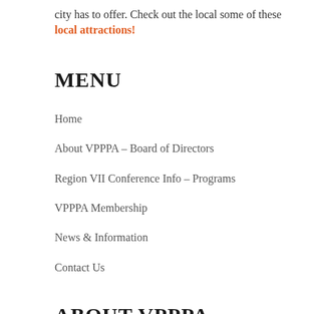city has to offer. Check out the local some of these local attractions!
MENU
Home
About VPPPA – Board of Directors
Region VII Conference Info – Programs
VPPPA Membership
News & Information
Contact Us
ABOUT VPPPA